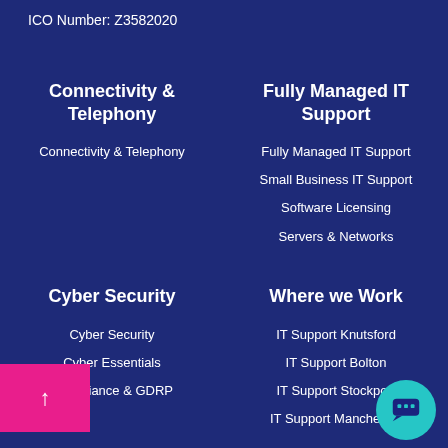ICO Number: Z3582020
Connectivity & Telephony
Connectivity & Telephony
Fully Managed IT Support
Fully Managed IT Support
Small Business IT Support
Software Licensing
Servers & Networks
Cyber Security
Cyber Security
Cyber Essentials
Compliance & GDRP
Where we Work
IT Support Knutsford
IT Support Bolton
IT Support Stockport
IT Support Manchester